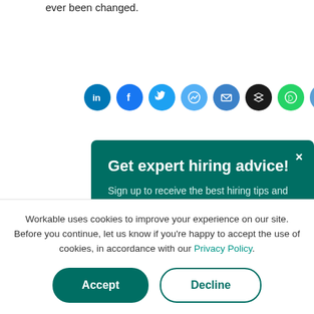ever been changed.
[Figure (infographic): Row of social media sharing icons: LinkedIn, Facebook, Twitter, Messenger, Email, Buffer, WhatsApp, Copy Link — all circular colored buttons]
Rela
INSIDE C
Quiet
with t
[Figure (screenshot): Teal modal popup overlay with title 'Get expert hiring advice!', subtitle 'Sign up to receive the best hiring tips and resources delivered straight to your inbox.', and a Subscribe button with white border on teal background. X close button in top right.]
Workable uses cookies to improve your experience on our site. Before you continue, let us know if you’re happy to accept the use of cookies, in accordance with our Privacy Policy.
Accept
Decline